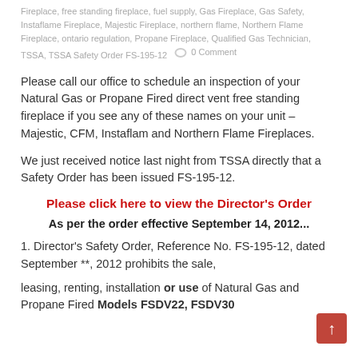Fireplace, free standing fireplace, fuel supply, Gas Fireplace, Gas Safety, Instaflame Fireplace, Majestic Fireplace, northern flame, Northern Flame Fireplace, ontario regulation, Propane Fireplace, Qualified Gas Technician, TSSA, TSSA Safety Order FS-195-12
0 Comment
Please call our office to schedule an inspection of your Natural Gas or Propane Fired direct vent free standing fireplace if you see any of these names on your unit – Majestic, CFM, Instaflam and Northern Flame Fireplaces.
We just received notice last night from TSSA directly that a Safety Order has been issued FS-195-12.
Please click here to view the Director's Order
As per the order effective September 14, 2012...
1. Director's Safety Order, Reference No. FS-195-12, dated September **, 2012 prohibits the sale,
leasing, renting, installation or use of Natural Gas and Propane Fired Models FSDV22, FSDV30...